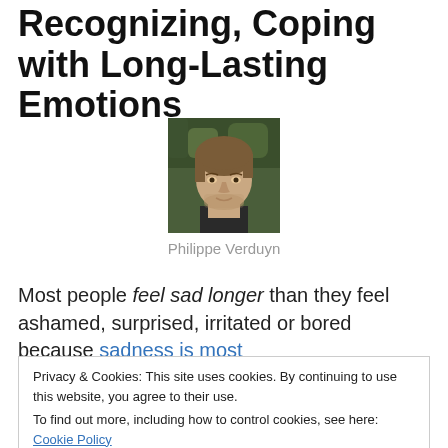Recognizing, Coping with Long-Lasting Emotions
[Figure (photo): Headshot photo of Philippe Verduyn, a young man with medium-length brown hair, wearing a dark jacket, taken outdoors with green foliage in the background.]
Philippe Verduyn
Most people feel sad longer than they feel ashamed, surprised, irritated or bored because sadness is most
Privacy & Cookies: This site uses cookies. By continuing to use this website, you agree to their use.
To find out more, including how to control cookies, see here: Cookie Policy